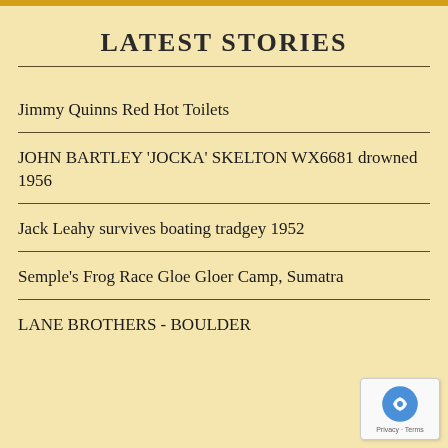LATEST STORIES
Jimmy Quinns Red Hot Toilets
JOHN BARTLEY 'JOCKA' SKELTON WX6681 drowned 1956
Jack Leahy survives boating tradgey 1952
Semple's Frog Race Gloe Gloer Camp, Sumatra
LANE BROTHERS - BOULDER